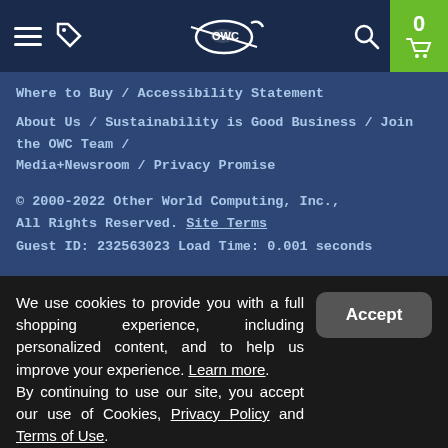OWC navigation bar with hamburger menu, tag icon, OWC logo, search icon, and cart (0)
Where to Buy / Accessibility Statement
About Us / Sustainability is Good Business / Join the OWC Team / Media+Newsroom / Privacy Promise
© 2000-2022 Other World Computing, Inc., All Rights Reserved. Site Terms
Guest ID: 232563023 Load Time: 0.001 seconds
We use cookies to provide you with a full shopping experience, including personalized content, and to help us improve your experience. Learn more.
By continuing to use our site, you accept our use of Cookies, Privacy Policy and Terms of Use.